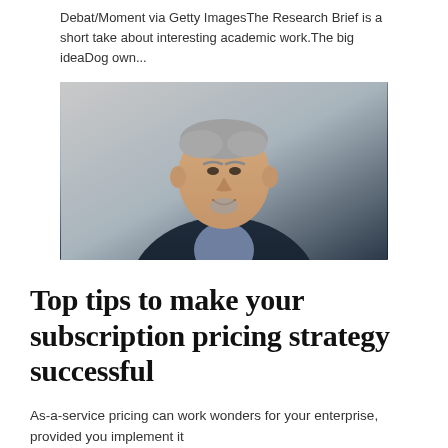Debat/Moment via Getty ImagesThe Research Brief is a short take about interesting academic work.The big ideaDog own...
[Figure (photo): Portrait photo of a middle-aged man with short gray hair and a goatee, wearing a dark navy blazer over a patterned shirt, against a light gray background.]
Top tips to make your subscription pricing strategy successful
As-a-service pricing can work wonders for your enterprise, provided you implement it